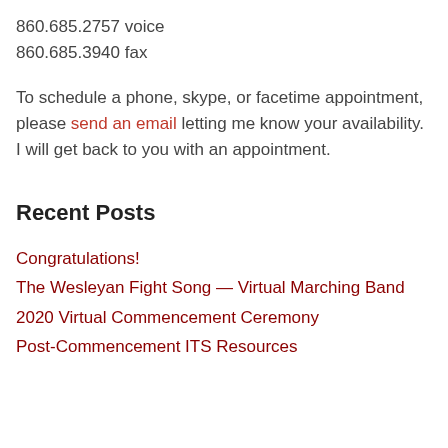860.685.2757 voice
860.685.3940 fax
To schedule a phone, skype, or facetime appointment, please send an email letting me know your availability. I will get back to you with an appointment.
Recent Posts
Congratulations!
The Wesleyan Fight Song — Virtual Marching Band
2020 Virtual Commencement Ceremony
Post-Commencement ITS Resources